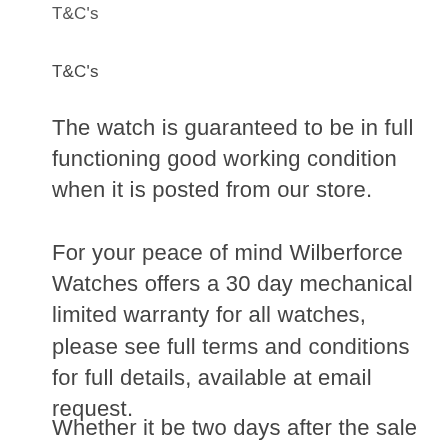T&C's (partial, cut off at top)
T&C's
The watch is guaranteed to be in full functioning good working condition when it is posted from our store.
For your peace of mind Wilberforce Watches offers a 30 day mechanical limited warranty for all watches, please see full terms and conditions for full details, available at email request.
Whether it be two days after the sale or two